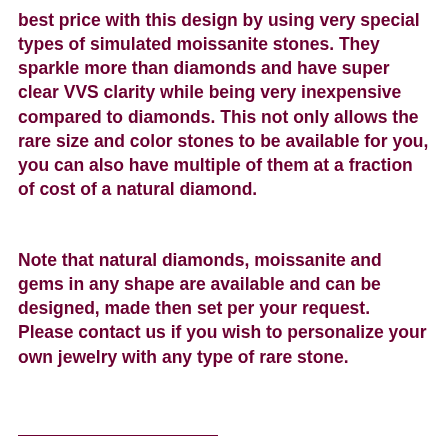best price with this design by using very special types of simulated moissanite stones. They sparkle more than diamonds and have super clear VVS clarity while being very inexpensive compared to diamonds. This not only allows the rare size and color stones to be available for you, you can also have multiple of them at a fraction of cost of a natural diamond.
Note that natural diamonds, moissanite and gems in any shape are available and can be designed, made then set per your request. Please contact us if you wish to personalize your own jewelry with any type of rare stone.